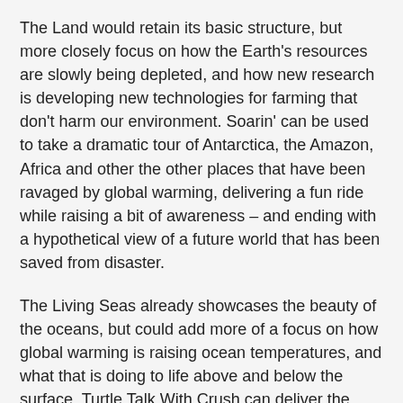The Land would retain its basic structure, but more closely focus on how the Earth's resources are slowly being depleted, and how new research is developing new technologies for farming that don't harm our environment. Soarin' can be used to take a dramatic tour of Antarctica, the Amazon, Africa and other the other places that have been ravaged by global warming, delivering a fun ride while raising a bit of awareness – and ending with a hypothetical view of a future world that has been saved from disaster.
The Living Seas already showcases the beauty of the oceans, but could add more of a focus on how global warming is raising ocean temperatures, and what that is doing to life above and below the surface. Turtle Talk With Crush can deliver the message in a fun and compelling way.
No doubt there are more ideas; I haven't even touched on Imagination!, the now-defunct Wonders of Life or Mission: Space, all of which could be subtly or completely overhauled to match the theme.
Suddenly, the Epcot experience would seem cohesive and